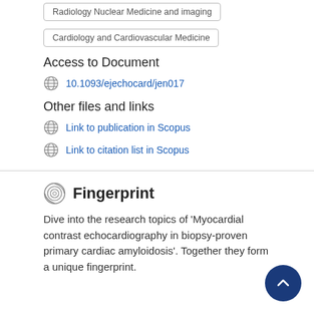Radiology Nuclear Medicine and imaging
Cardiology and Cardiovascular Medicine
Access to Document
10.1093/ejechocard/jen017
Other files and links
Link to publication in Scopus
Link to citation list in Scopus
Fingerprint
Dive into the research topics of 'Myocardial contrast echocardiography in biopsy-proven primary cardiac amyloidosis'. Together they form a unique fingerprint.